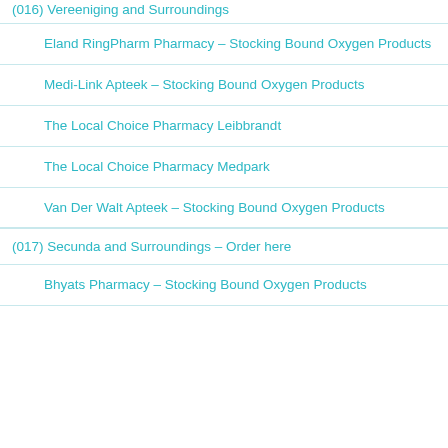(016) Vereeniging and Surroundings
Eland RingPharm Pharmacy – Stocking Bound Oxygen Products
Medi-Link Apteek – Stocking Bound Oxygen Products
The Local Choice Pharmacy Leibbrandt
The Local Choice Pharmacy Medpark
Van Der Walt Apteek – Stocking Bound Oxygen Products
(017) Secunda and Surroundings – Order here
Bhyats Pharmacy – Stocking Bound Oxygen Products